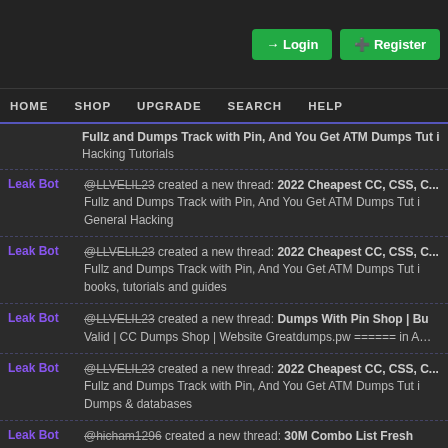Login | Register
HOME  SHOP  UPGRADE  SEARCH  HELP
Fullz and Dumps Track with Pin, And You Get ATM Dumps Tut in Hacking Tutorials
Leak Bot @LLVELIL23 created a new thread: 2022 Cheapest CC, CSS, C... Fullz and Dumps Track with Pin, And You Get ATM Dumps Tut in General Hacking
Leak Bot @LLVELIL23 created a new thread: 2022 Cheapest CC, CSS, C... Fullz and Dumps Track with Pin, And You Get ATM Dumps Tut in books, tutorials and guides
Leak Bot @LLVELIL23 created a new thread: Dumps With Pin Shop | Bu... Valid | CC Dumps Shop | Website Greatdumps.pw ====== in A...
Leak Bot @LLVELIL23 created a new thread: 2022 Cheapest CC, CSS, C... Fullz and Dumps Track with Pin, And You Get ATM Dumps Tut in Dumps & databases
Leak Bot @hicham1296 created a new thread: 30M Combo List Fresh Mi... Combolists
Owl They probably died in the nether
Infinity What happened to all of my Minecraft Threads I done? They all disappeared